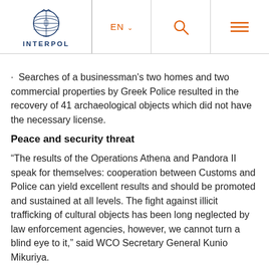INTERPOL | EN | Search | Menu
Searches of a businessman's two homes and two commercial properties by Greek Police resulted in the recovery of 41 archaeological objects which did not have the necessary license.
Peace and security threat
“The results of the Operations Athena and Pandora II speak for themselves: cooperation between Customs and Police can yield excellent results and should be promoted and sustained at all levels. The fight against illicit trafficking of cultural objects has been long neglected by law enforcement agencies, however, we cannot turn a blind eye to it,” said WCO Secretary General Kunio Mikuriya.
“While we lose our common history and identity, the proceeds